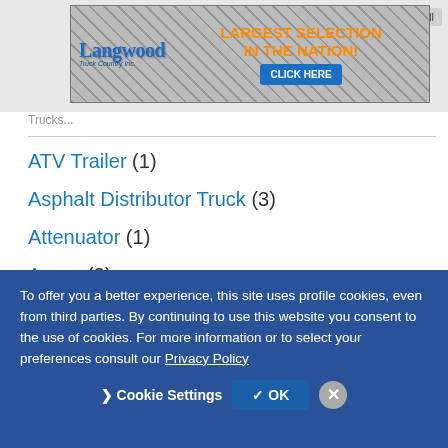[Figure (screenshot): Longwood Truck Country advertisement banner with diamond plate background, orange text 'LARGEST SELECTION IN THE NATION!', blue 'CLICK HERE' button]
Trucks...
ATV Trailer (1)
Asphalt Distributor Truck (3)
Attenuator (1)
Auger (3)
Beverage Truck (9)
To offer you a better experience, this site uses profile cookies, even from third parties. By continuing to use this website you consent to the use of cookies. For more information or to select your preferences consult our Privacy Policy